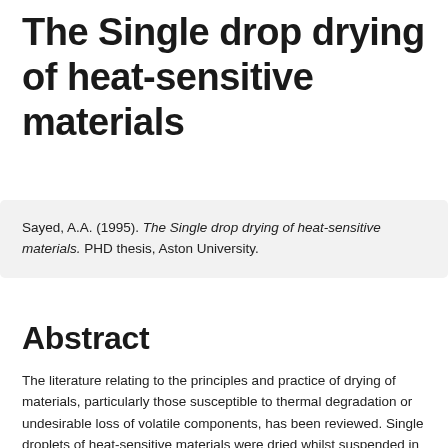The Single drop drying of heat-sensitive materials
Sayed, A.A. (1995). The Single drop drying of heat-sensitive materials. PHD thesis, Aston University.
Abstract
The literature relating to the principles and practice of drying of materials, particularly those susceptible to thermal degradation or undesirable loss of volatile components, has been reviewed. Single droplets of heat-sensitive materials were dried whilst suspended in a horizontal wind tunnel from a specially-designed, rotating thermocouple which enabled direct observation of drying behaviour and continuous measurement of droplet